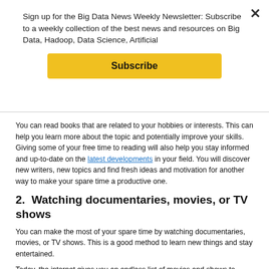Sign up for the Big Data News Weekly Newsletter: Subscribe to a weekly collection of the best news and resources on Big Data, Hadoop, Data Science, Artificial
Subscribe
You can read books that are related to your hobbies or interests. This can help you learn more about the topic and potentially improve your skills. Giving some of your free time to reading will also help you stay informed and up-to-date on the latest developments in your field. You will discover new writers, new topics and find fresh ideas and motivation for another way to make your spare time a productive one.
2.  Watching documentaries, movies, or TV shows
You can make the most of your spare time by watching documentaries, movies, or TV shows. This is a good method to learn new things and stay entertained.
Today, the internet gives you an endless list of movies and shows to watch from different countries, with translations and everything you need to enjoy your time. You can create an agenda for the movies you want to watch, make